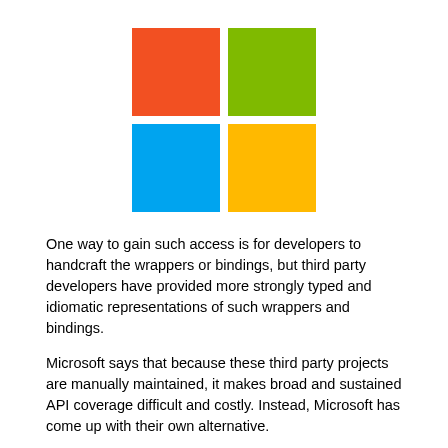[Figure (logo): Microsoft four-color logo: red, green, blue, yellow squares in a 2x2 grid]
One way to gain such access is for developers to handcraft the wrappers or bindings, but third party developers have provided more strongly typed and idiomatic representations of such wrappers and bindings.
Microsoft says that because these third party projects are manually maintained, it makes broad and sustained API coverage difficult and costly. Instead, Microsoft has come up with their own alternative.
The project aim is to provide a complete description of the Win32 API surface in metadata so that it can be projected to any language in an automated way. This results in an ECMA-335 compliant Windows metadata file (winmd) published to Nuget.org containing metadata describing the entire Win32 API surface.
Microsoft says that accurately describing all of the Win32 APIs will take both time and some iteration. To make the metadata useful so developers can call Win32 APIs idiomatically from the language of their choice, projection layer generation tools of it...